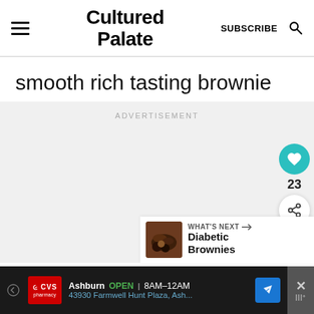Cultured Palate | SUBSCRIBE
smooth rich tasting brownie
[Figure (screenshot): Advertisement placeholder area with 'ADVERTISEMENT' label, social action buttons (heart with 23 count, share), and a 'WHAT'S NEXT' panel showing Diabetic Brownies]
[Figure (screenshot): CVS Pharmacy ad banner: Ashburn OPEN 8AM-12AM, 43930 Farmwell Hunt Plaza, Ash...]